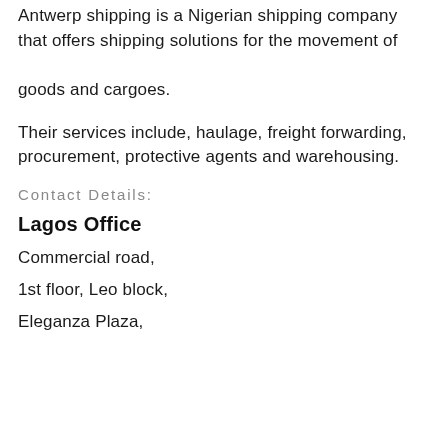Antwerp shipping is a Nigerian shipping company that offers shipping solutions for the movement of goods and cargoes.
Their services include, haulage, freight forwarding, procurement, protective agents and warehousing.
Contact Details:
Lagos Office
Commercial road,
1st floor, Leo block,
Eleganza Plaza,